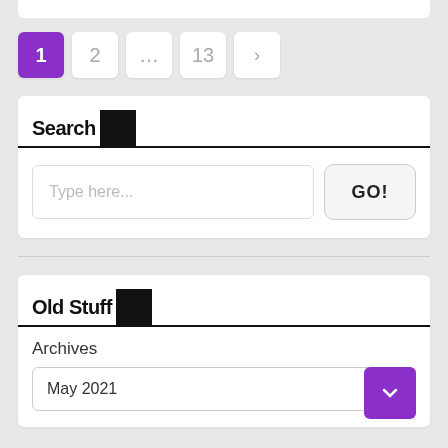[Figure (screenshot): Pagination controls showing page 1 (active/purple), 2, ..., 13, and next arrow]
Search
[Figure (screenshot): Search input field with placeholder 'Type here...' and a GO! button]
Old Stuff
Archives
May 2021